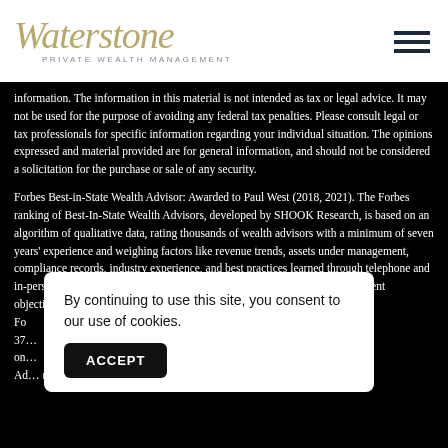Waterstone Private Wealth Management
information. The information in this material is not intended as tax or legal advice. It may not be used for the purpose of avoiding any federal tax penalties. Please consult legal or tax professionals for specific information regarding your individual situation. The opinions expressed and material provided are for general information, and should not be considered a solicitation for the purchase or sale of any security.
Forbes Best-in-State Wealth Advisor: Awarded to Paul West (2018, 2021). The Forbes ranking of Best-In-State Wealth Advisors, developed by SHOOK Research, is based on an algorithm of qualitative data, rating thousands of wealth advisors with a minimum of seven years' experience and weighing factors like revenue trends, assets under management, compliance records, industry experience, and best practices learned through telephone and in-person interviews. Portfolio performance is not a criteria due to varying client objectives and lack of audited data. Neither Fo... of 37... on... Ad... r
By continuing to use this site, you consent to our use of cookies.
ACCEPT